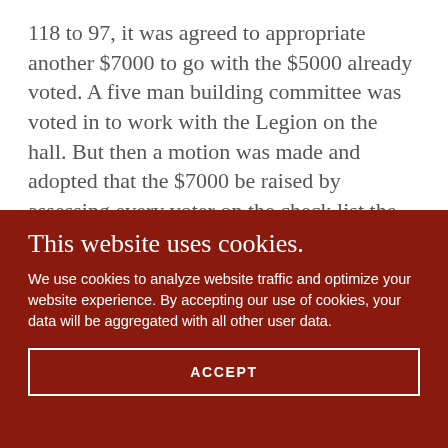118 to 97, it was agreed to appropriate another $7000 to go with the $5000 already voted. A five man building committee was voted in to work with the Legion on the hall. But then a motion was made and adopted that the $7000 be raised by assessing every voter on the check list the same amount
This website uses cookies.
We use cookies to analyze website traffic and optimize your website experience. By accepting our use of cookies, your data will be aggregated with all other user data.
ACCEPT